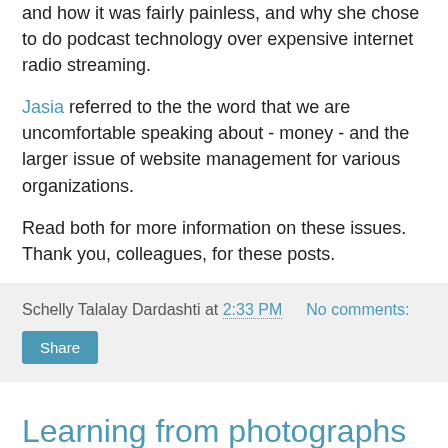DeaMYRTLE described her own switch to a different ISP and how it was fairly painless, and why she chose to do podcast technology over expensive internet radio streaming.
Jasia referred to the the word that we are uncomfortable speaking about - money - and the larger issue of website management for various organizations.
Read both for more information on these issues. Thank you, colleagues, for these posts.
Schelly Talalay Dardashti at 2:33 PM   No comments:
Share
Learning from photographs and more
Family Tree Magazine has information-filled blogs for genealogists investigating their family history.
Photo expert and author Maureen Taylor writes the Photo